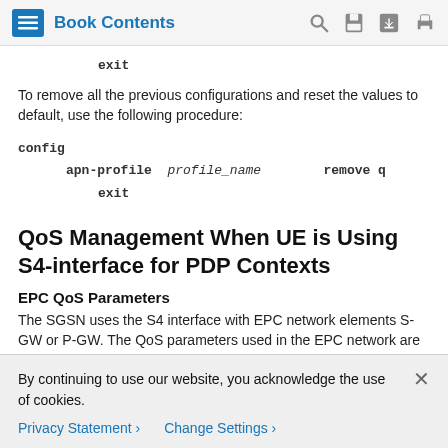Book Contents
exit
To remove all the previous configurations and reset the values to default, use the following procedure:
QoS Management When UE is Using S4-interface for PDP Contexts
EPC QoS Parameters
The SGSN uses the S4 interface with EPC network elements S-GW or P-GW. The QoS parameters used in the EPC network are
By continuing to use our website, you acknowledge the use of cookies.
Privacy Statement > Change Settings >